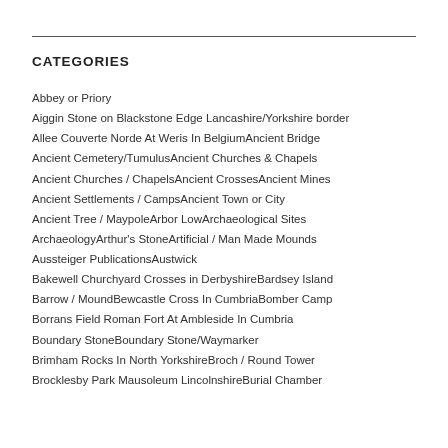CATEGORIES
Abbey or Priory
Aiggin Stone on Blackstone Edge Lancashire/Yorkshire border
Allee Couverte Norde At Weris In Belgium
Ancient Bridge
Ancient Cemetery/Tumulus
Ancient Churches & Chapels
Ancient Churches / Chapels
Ancient Crosses
Ancient Mines
Ancient Settlements / Camps
Ancient Town or City
Ancient Tree / Maypole
Arbor Low
Archaeological Sites
Archaeology
Arthur's Stone
Artificial / Man Made Mounds
Aussteiger Publications
Austwick
Bakewell Churchyard Crosses in Derbyshire
Bardsey Island
Barrow / Mound
Bewcastle Cross In Cumbria
Bomber Camp
Borrans Field Roman Fort At Ambleside In Cumbria
Boundary Stone
Boundary Stone/Waymarker
Brimham Rocks In North Yorkshire
Broch / Round Tower
Brocklesby Park Mausoleum Lincolnshire
Burial Chamber